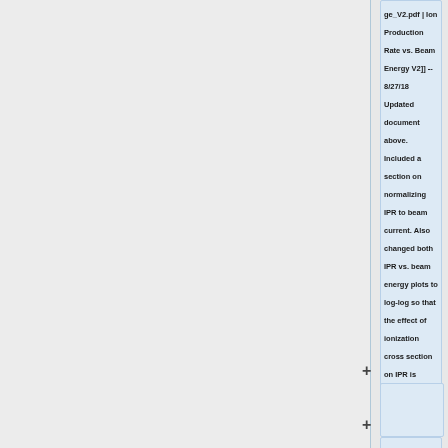ge_V2.pdf | Ion Production Rate vs. Beam Energy V2]] -- 8/27/18 Updated document above. Included a section on normalizing IPR to beam current. Also changed both IPR vs. beam energy plots to log-log so that the effect of ionization cross section on IPR is clearly seen.
==Oral Qualifier Paper and